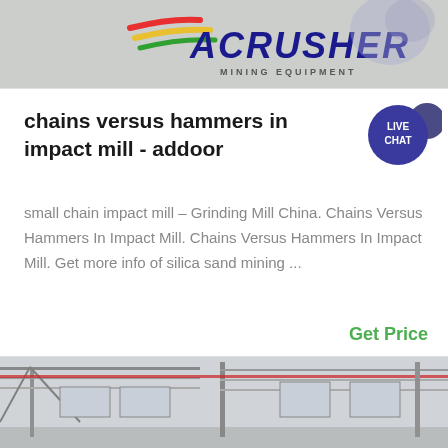[Figure (logo): ACRUSHER Mining Equipment logo with red, yellow, green diagonal stripes above bold italic dark blue 'ACRUSHER' text and 'MINING EQUIPMENT' subtitle]
chains versus hammers in impact mill - addoor
small chain impact mill – Grinding Mill China. Chains Versus Hammers In Impact Mill. Chains Versus Hammers In Impact Mill. Get more info of silica sand mining ...
Get Price
[Figure (photo): Interior of a large industrial factory or warehouse with steel roof structure, columns, and windows along the wall]